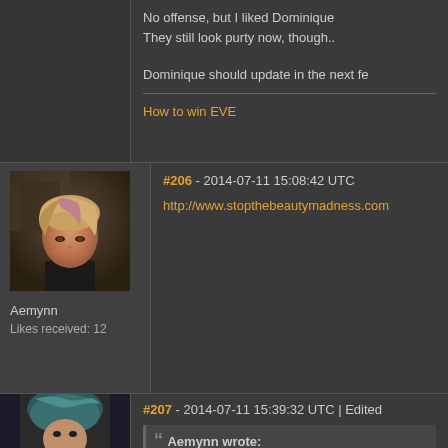No offense, but I liked Dominique. They still look purty now, though..
Dominique should update in the next fe
How to win EVE
#206 - 2014-07-11 15:08:42 UTC
http://www.stopthebeautymadness.com
[Figure (photo): Forum avatar of user Aemynn - a 3D rendered female character with pink/blonde streaked hair in a bob cut, wearing a black turtleneck, against a dark background]
Aemynn
Likes received: 12
#207 - 2014-07-11 15:39:32 UTC | Edited
[Figure (photo): Forum avatar partially visible - a 3D rendered female character with teal/blue hair]
Aemynn wrote: